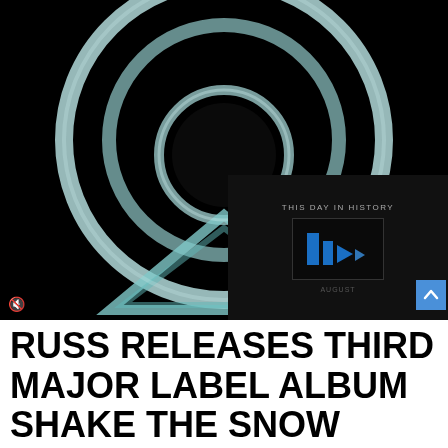[Figure (illustration): Dark black background with tron-style concentric glowing rings/circles and a triangular shape below, forming an abstract geometric logo. An overlay card in the lower-right shows 'THIS DAY IN HISTORY' text, a blue play-button logo icon, and 'AUGUST' label. A mute/unmute speaker icon is visible bottom-left of overlay.]
RUSS RELEASES THIRD MAJOR LABEL ALBUM SHAKE THE SNOW GLOBE TODAY VIA